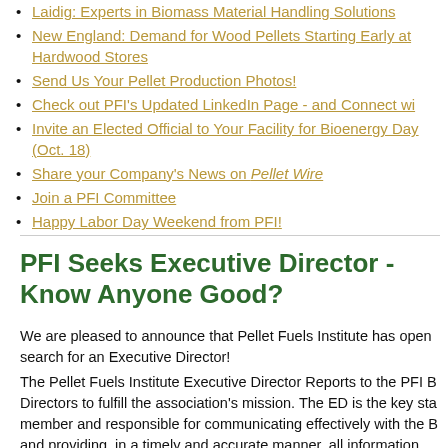Laidig: Experts in Biomass Material Handling Solutions
New England: Demand for Wood Pellets Starting Early at Hardwood Stores
Send Us Your Pellet Production Photos!
Check out PFI's Updated LinkedIn Page - and Connect wi
Invite an Elected Official to Your Facility for Bioenergy Day (Oct. 18)
Share your Company's News on Pellet Wire
Join a PFI Committee
Happy Labor Day Weekend from PFI!
PFI Seeks Executive Director - Know Anyone Good?
We are pleased to announce that Pellet Fuels Institute has open search for an Executive Director!
The Pellet Fuels Institute Executive Director Reports to the PFI B Directors to fulfill the association's mission. The ED is the key sta member and responsible for communicating effectively with the B and providing, in a timely and accurate manner, all information necessary for the Board to function properly and to make informe decisions. The ED oversees PFI's fiscal management and overs PFI staff, anticipates operating within the approved budget, ensu maximum resource utilization, and maintenance of the organizat positive financial position. The ED will also work with the PFI Boa